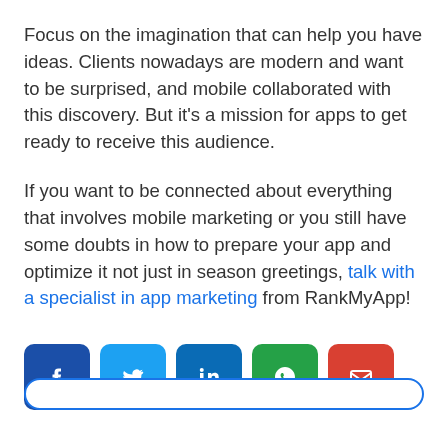Focus on the imagination that can help you have ideas. Clients nowadays are modern and want to be surprised, and mobile collaborated with this discovery. But it's a mission for apps to get ready to receive this audience.
If you want to be connected about everything that involves mobile marketing or you still have some doubts in how to prepare your app and optimize it not just in season greetings, talk with a specialist in app marketing from RankMyApp!
[Figure (infographic): Social media share buttons: Facebook, Twitter, LinkedIn, WhatsApp, Email]